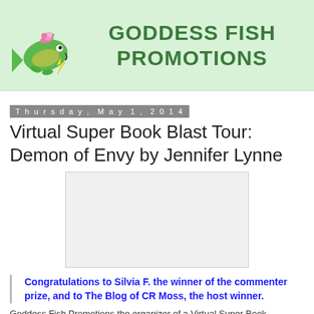[Figure (logo): Goddess Fish Promotions logo with a cartoon green fish wearing a pink hat and holding a lightning bolt, next to bold text reading GODDESS FISH PROMOTIONS on a light green background]
Thursday, May 1, 2014
Virtual Super Book Blast Tour: Demon of Envy by Jennifer Lynne
[Figure (photo): Blank/placeholder image rectangle]
Congratulations to Silvia F. the winner of the commenter prize, and to The Blog of CR Moss, the host winner.
Goddess Fish Promotions the organizer of a Virtual Super Book...